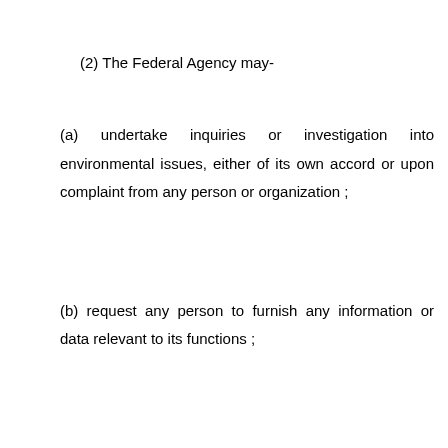(2) The Federal Agency may-
(a) undertake inquiries or investigation into environmental issues, either of its own accord or upon complaint from any person or organization ;
(b) request any person to furnish any information or data relevant to its functions ;